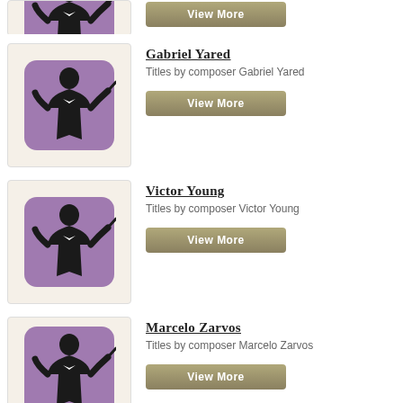[Figure (illustration): Partial composer card at top of page showing bottom portion of purple conductor icon and a View More button]
[Figure (illustration): Purple square icon with silhouette of a conductor in tuxedo holding a baton with arms raised]
Gabriel Yared
Titles by composer Gabriel Yared
[Figure (illustration): View More button for Gabriel Yared]
[Figure (illustration): Purple square icon with silhouette of a conductor in tuxedo holding a baton with arms raised]
Victor Young
Titles by composer Victor Young
[Figure (illustration): View More button for Victor Young]
[Figure (illustration): Purple square icon with silhouette of a conductor in tuxedo holding a baton with arms raised]
Marcelo Zarvos
Titles by composer Marcelo Zarvos
[Figure (illustration): View More button for Marcelo Zarvos]